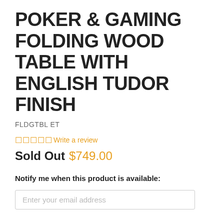POKER & GAMING FOLDING WOOD TABLE WITH ENGLISH TUDOR FINISH
FLDGTBL ET
★★★★★ Write a review
Sold Out $749.00
Notify me when this product is available:
Enter your email address